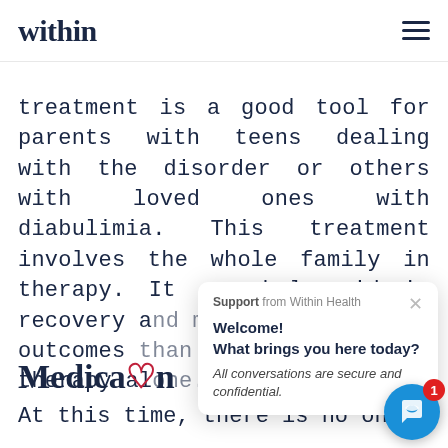within
treatment is a good tool for parents with teens dealing with the disorder or others with loved ones with diabulimia. This treatment involves the whole family in therapy. It can help aid in recovery and may have better outcomes than individual therapy al
Medication
At this time, there is no one